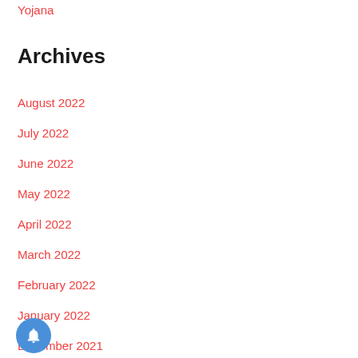Yojana
Archives
August 2022
July 2022
June 2022
May 2022
April 2022
March 2022
February 2022
January 2022
December 2021
November 2021
October 2021
September 2021